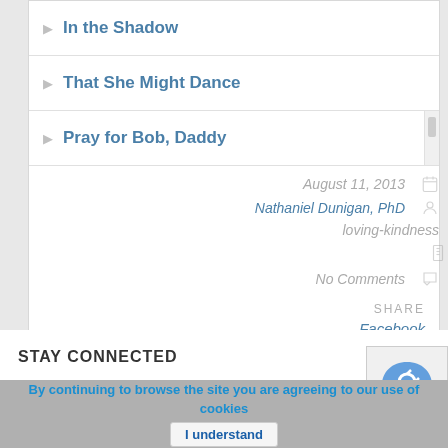In the Shadow
That She Might Dance
Pray for Bob, Daddy
August 11, 2013
Nathaniel Dunigan, PhD
loving-kindness
No Comments
SHARE
Facebook
Twitter
STAY CONNECTED
By continuing to browse the site you are agreeing to our use of cookies
I understand